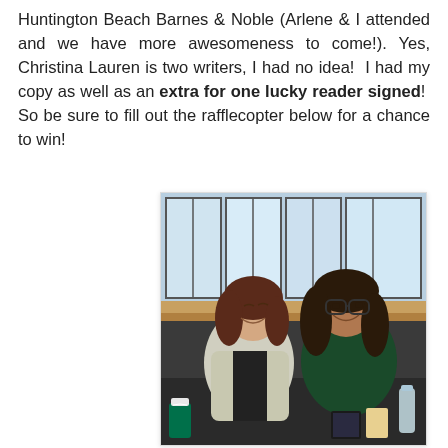Huntington Beach Barnes & Noble (Arlene & I attended and we have more awesomeness to come!). Yes, Christina Lauren is two writers, I had no idea!  I had my copy as well as an extra for one lucky reader signed!  So be sure to fill out the rafflecopter below for a chance to win!
[Figure (photo): Two women smiling and posing together at a book signing table inside a Barnes & Noble store. Large windows are visible in the background. A Starbucks cup is visible on the left, and books and a water bottle are on the table.]